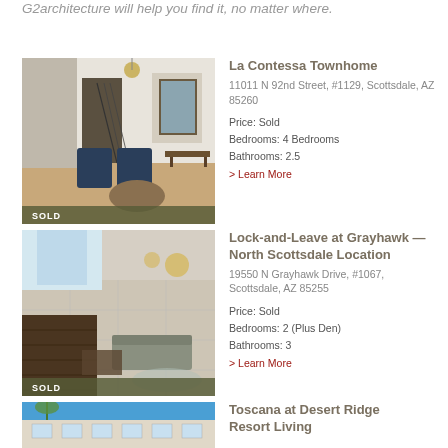G2architecture will help you find it, no matter where.
[Figure (photo): Interior photo of a townhome living room with blue chairs and staircase, with SOLD overlay badge]
La Contessa Townhome
11011 N 92nd Street, #1129, Scottsdale, AZ 85260
Price: Sold
Bedrooms: 4 Bedrooms
Bathrooms: 2.5
> Learn More
[Figure (photo): Aerial interior view of a living room with open patio door, with SOLD overlay badge]
Lock-and-Leave at Grayhawk — North Scottsdale Location
19550 N Grayhawk Drive, #1067, Scottsdale, AZ 85255
Price: Sold
Bedrooms: 2 (Plus Den)
Bathrooms: 3
> Learn More
[Figure (photo): Exterior photo of Toscana at Desert Ridge Resort Living property (partially visible)]
Toscana at Desert Ridge Resort Living